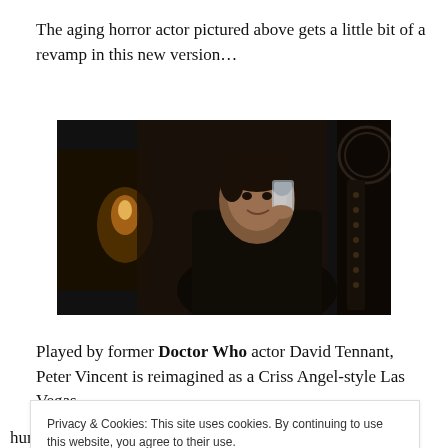The aging horror actor pictured above gets a little bit of a revamp in this new version…
[Figure (photo): Dark cinematic still of a young man in dark clothing holding a glass up, with candlelight and ornate background visible]
Played by former Doctor Who actor David Tennant, Peter Vincent is reimagined as a Criss Angel-style Las Vegas
Privacy & Cookies: This site uses cookies. By continuing to use this website, you agree to their use.
To find out more, including how to control cookies, see here: Cookie Policy
humor to the role and the film's balance of comedy and